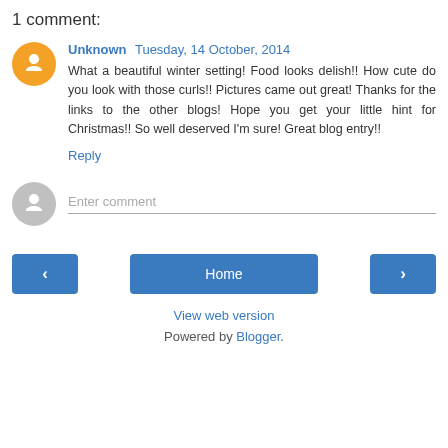1 comment:
Unknown Tuesday, 14 October, 2014
What a beautiful winter setting! Food looks delish!! How cute do you look with those curls!! Pictures came out great! Thanks for the links to the other blogs! Hope you get your little hint for Christmas!! So well deserved I'm sure! Great blog entry!!
Reply
Enter comment
Home
View web version
Powered by Blogger.